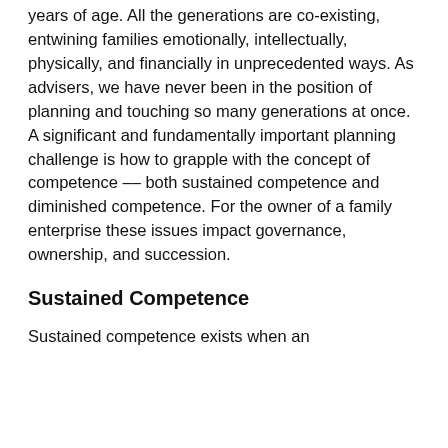years of age. All the generations are co-existing, entwining families emotionally, intellectually, physically, and financially in unprecedented ways. As advisers, we have never been in the position of planning and touching so many generations at once. A significant and fundamentally important planning challenge is how to grapple with the concept of competence -- both sustained competence and diminished competence. For the owner of a family enterprise these issues impact governance, ownership, and succession.
Sustained Competence
Sustained competence exists when an